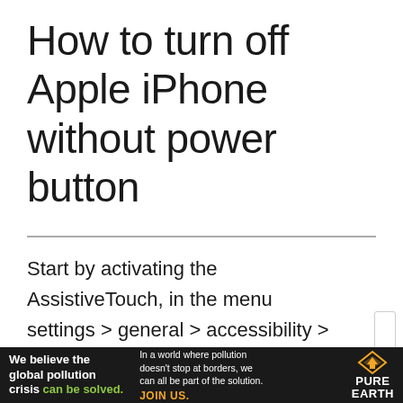How to turn off Apple iPhone without power button
Start by activating the AssistiveTouch, in the menu settings > general > accessibility > AssistiveTouch, by switching on the AssistiveTouch option.
Now something will be visible on your screen
[Figure (screenshot): Pure Earth advertisement banner with text: We believe the global pollution crisis can be solved. In a world where pollution doesn't stop at borders, we can all be part of the solution. JOIN US. Pure Earth logo.]